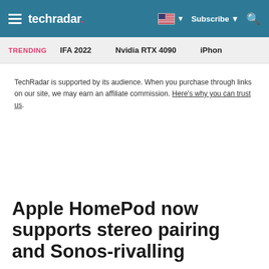techradar | Subscribe | Search
TRENDING   IFA 2022   Nvidia RTX 4090   iPhon
TechRadar is supported by its audience. When you purchase through links on our site, we may earn an affiliate commission. Here's why you can trust us.
Apple HomePod now supports stereo pairing and Sonos-rivalling